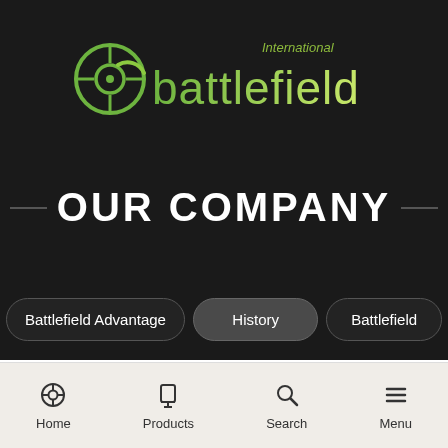[Figure (logo): International Battlefield logo with circular crosshair icon and gradient green wordmark]
OUR COMPANY
Battlefield Advantage
History
Battlefield
Home | Products | Search | Menu